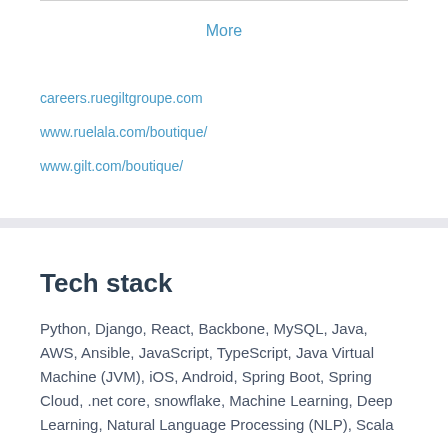More
careers.ruegiltgroupe.com
www.ruelala.com/boutique/
www.gilt.com/boutique/
Tech stack
Python, Django, React, Backbone, MySQL, Java, AWS, Ansible, JavaScript, TypeScript, Java Virtual Machine (JVM), iOS, Android, Spring Boot, Spring Cloud, .net core, snowflake, Machine Learning, Deep Learning, Natural Language Processing (NLP), Scala